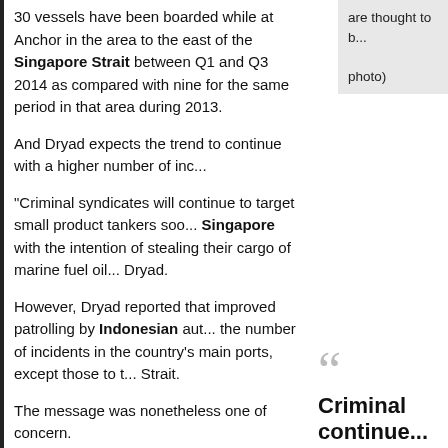are thought to b... photo)
30 vessels have been boarded while at Anchor in the area to the east of the Singapore Strait between Q1 and Q3 2014 as compared with nine for the same period in that area during 2013.
And Dryad expects the trend to continue with a higher number of inc...
"Criminal syndicates will continue to target small product tankers soo... Singapore with the intention of stealing their cargo of marine fuel oil... Dryad.
However, Dryad reported that improved patrolling by Indonesian aut... the number of incidents in the country's main ports, except those to t... Strait.
The message was nonetheless one of concern.
"All vessels at anchor in the major ports across Southeast Asia remain at risk of boarding by opportunistic local criminals with the target being ship stores, which are easily resold in thriving
Criminal continue... product t...